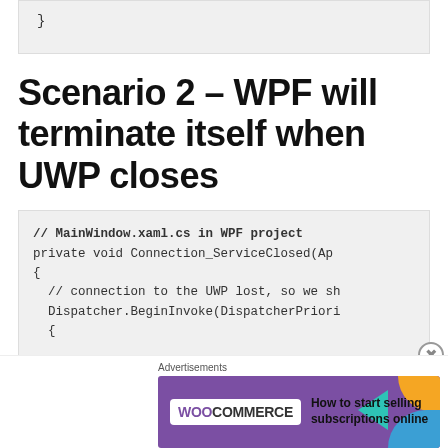Scenario 2 – WPF will terminate itself when UWP closes
[Figure (infographic): WooCommerce advertisement banner: 'How to start selling subscriptions online']